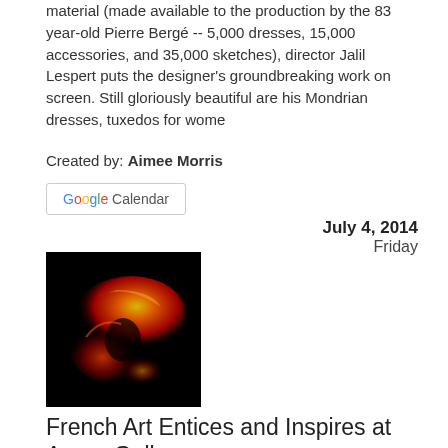material (made available to the production by the 83 year-old Pierre Bergé -- 5,000 dresses, 15,000 accessories, and 35,000 sketches), director Jalil Lespert puts the designer's groundbreaking work on screen. Still gloriously beautiful are his Mondrian dresses, tuxedos for wome
Created by: Aimee Morris
[Figure (other): Google Calendar button]
July 4, 2014
Friday
[Figure (photo): Abstract orange and red glowing sculpture on black background]
French Art Entices and Inspires at Agora Gallery
Jul 4, 2014 to Jul 25, 2014
Location: Agora Gallery